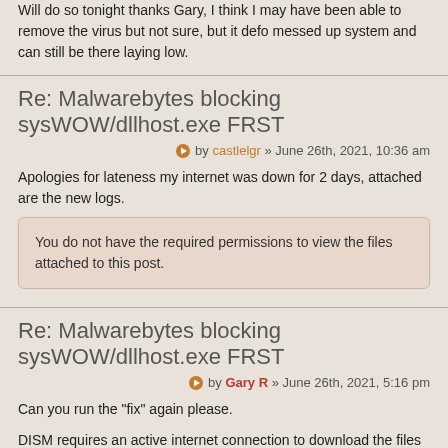Will do so tonight thanks Gary, I think I may have been able to remove the virus but not sure, but it defo messed up system and can still be there laying low.
Re: Malwarebytes blocking sysWOW/dllhost.exe FRST
by castlelgr » June 26th, 2021, 10:36 am
Apologies for lateness my internet was down for 2 days, attached are the new logs.
You do not have the required permissions to view the files attached to this post.
Re: Malwarebytes blocking sysWOW/dllhost.exe FRST
by Gary R » June 26th, 2021, 5:16 pm
Can you run the "fix" again please.
DISM requires an active internet connection to download the files it needs to fix your system. From the information in your fixlog.txt, it would appear that it was unable to download them.